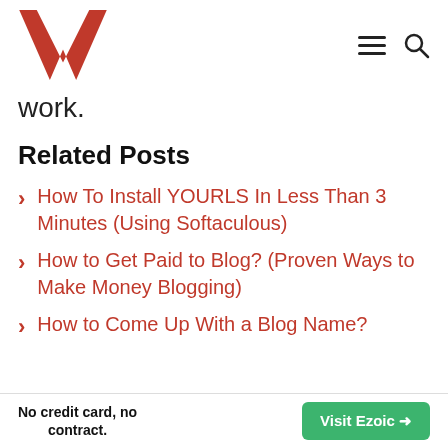W logo with hamburger menu and search icon
work.
Related Posts
How To Install YOURLS In Less Than 3 Minutes (Using Softaculous)
How to Get Paid to Blog? (Proven Ways to Make Money Blogging)
How to Come Up With a Blog Name?
No credit card, no contract. Visit Ezoic →